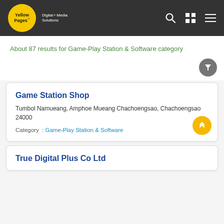Yellow Pages Thailand - Digital Media Solutions
About 87 results for Game-Play Station & Software category
Game Station Shop
Tumbol Namueang, Amphoe Mueang Chachoengsao, Chachoengsao
24000
Category : Game-Play Station & Software
True Digital Plus Co Ltd